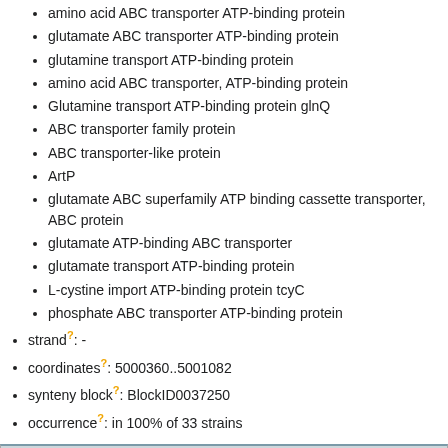amino acid ABC transporter ATP-binding protein
glutamate ABC transporter ATP-binding protein
glutamine transport ATP-binding protein
amino acid ABC transporter, ATP-binding protein
Glutamine transport ATP-binding protein glnQ
ABC transporter family protein
ABC transporter-like protein
ArtP
glutamate ABC superfamily ATP binding cassette transporter, ABC protein
glutamate ATP-binding ABC transporter
glutamate transport ATP-binding protein
L-cystine import ATP-binding protein tcyC
phosphate ABC transporter ATP-binding protein
strand?: -
coordinates?: 5000360..5001082
synteny block?: BlockID0037250
occurrence?: in 100% of 33 strains
Orthologs
COL: